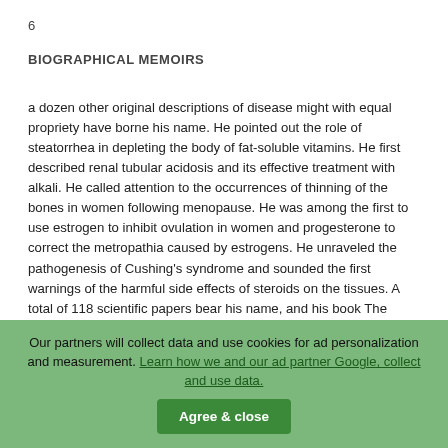6
BIOGRAPHICAL MEMOIRS
a dozen other original descriptions of disease might with equal propriety have borne his name. He pointed out the role of steatorrhea in depleting the body of fat-soluble vitamins. He first described renal tubular acidosis and its effective treatment with alkali. He called attention to the occurrences of thinning of the bones in women following menopause. He was among the first to use estrogen to inhibit ovulation in women and progesterone to correct the metropathia caused by estrogens. He unraveled the pathogenesis of Cushing's syndrome and sounded the first warnings of the harmful side effects of steroids on the tissues. A total of 118 scientific papers bear his name, and his book The Parathyroid Glands and Metabolic Bone Disease, published in 1948, is still a prime source of information on the subject. Dr. Albright was the recipient of honors and awards from
Our partners will collect data and use cookies for ad personalization and measurement. Learn how we and our ad partner Google, collect and use data.
Agree & close